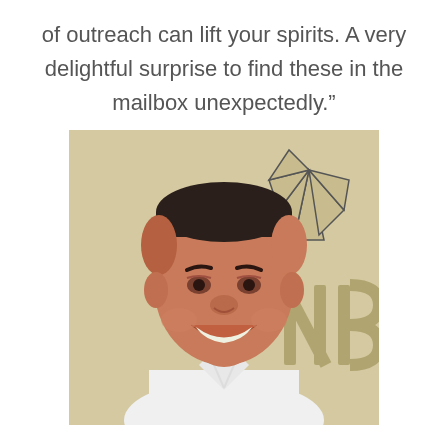of outreach can lift your spirits. A very delightful surprise to find these in the mailbox unexpectedly.”
[Figure (photo): A smiling middle-aged man with short dark hair wearing a white shirt, standing in front of a beige wall with an NBC logo partially visible in the background.]